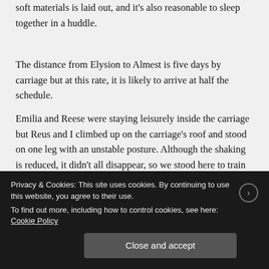soft materials is laid out, and it's also reasonable to sleep together in a huddle.
The distance from Elysion to Almest is five days by carriage but at this rate, it is likely to arrive at half the schedule.
Emilia and Reese were staying leisurely inside the carriage but Reus and I climbed up on the carriage's roof and stood on one leg with an unstable posture. Although the shaking is reduced, it didn't all disappear, so we stood here to train our sense of balance.
Privacy & Cookies: This site uses cookies. By continuing to use this website, you agree to their use.
To find out more, including how to control cookies, see here: Cookie Policy
Close and accept